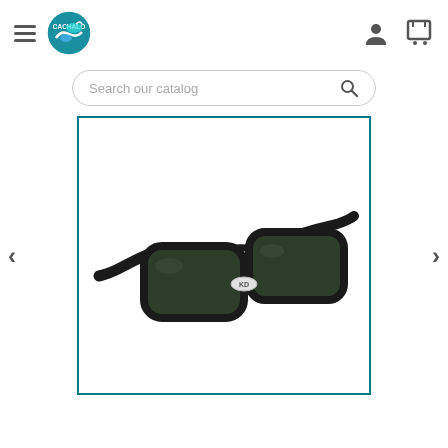Cachalo store navigation header with hamburger menu, logo, user icon, and cart icon
[Figure (screenshot): Search bar with placeholder text 'Search our catalog' and a magnifying glass icon]
[Figure (photo): Black framed KD sunglasses with dark green lenses, shown at a three-quarter angle on a white background, inside a teal-bordered product image frame with left and right navigation arrows]